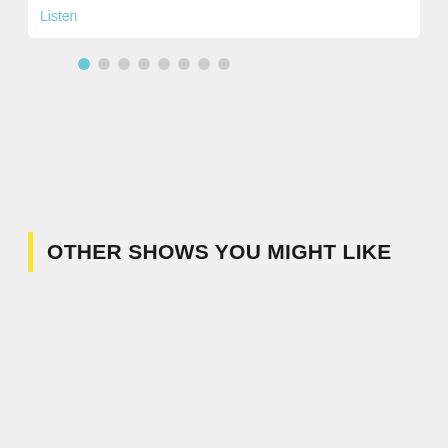Listen
[Figure (other): Pagination dots: 8 dots in a row, first dot active (blue), rest grey]
OTHER SHOWS YOU MIGHT LIKE